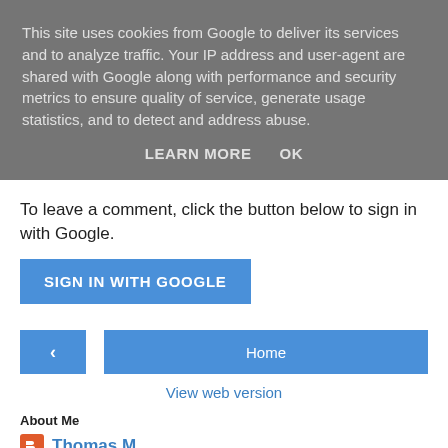This site uses cookies from Google to deliver its services and to analyze traffic. Your IP address and user-agent are shared with Google along with performance and security metrics to ensure quality of service, generate usage statistics, and to detect and address abuse.
LEARN MORE   OK
To leave a comment, click the button below to sign in with Google.
[Figure (screenshot): Blue button labeled SIGN IN WITH GOOGLE]
[Figure (screenshot): Navigation row with back arrow button and Home button]
View web version
About Me
Thomas M